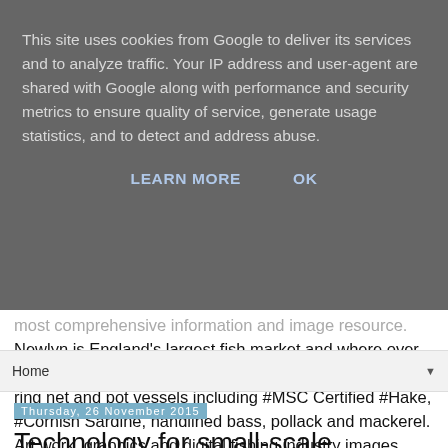This site uses cookies from Google to deliver its services and to analyze traffic. Your IP address and user-agent are shared with Google along with performance and security metrics to ensure quality of service, generate usage statistics, and to detect and address abuse.
LEARN MORE    OK
most comprehensive information and image resource. Newlyn is England's largest fish market and where over 50 species are regularly landed from handline, trawl, net, ring net and pot vessels including #MSC Certified #Hake, #Cornish Sardine, handlined bass, pollack and mackerel. Art work, graphics and digital fishing industry images available from stock or on commission.
Home ▼
Thursday, 26 November 2015
Technology for small-scale fishermen - the way ahead.